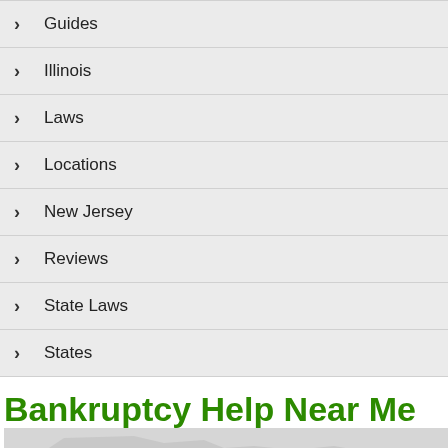Guides
Illinois
Laws
Locations
New Jersey
Reviews
State Laws
States
Bankruptcy Help Near Me
[Figure (map): Partial map showing geographic locations with blue dot markers]